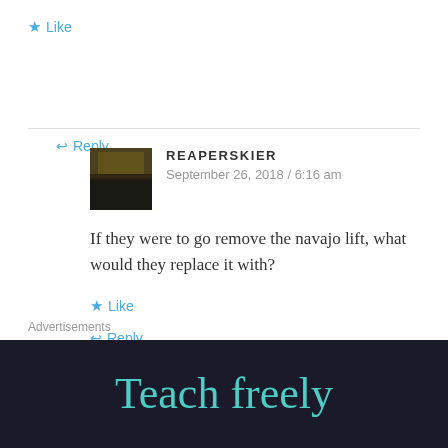★ Like
↩ Reply
REAPERSKIER
September 26, 2018 / 6:16 am
If they were to go remove the navajo lift, what would they replace it with?
★ Like
↩ Reply
Advertisements
[Figure (other): Dark banner advertisement with teal text reading 'Teach freely']